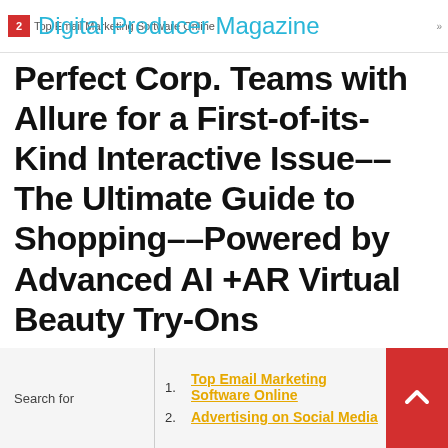Digital Producer Magazine
Perfect Corp. Teams with Allure for a First-of-its-Kind Interactive Issue––The Ultimate Guide to Shopping––Powered by Advanced AI +AR Virtual Beauty Try-Ons
1. Top Email Marketing Software Online
2. Advertising on Social Media
Search for